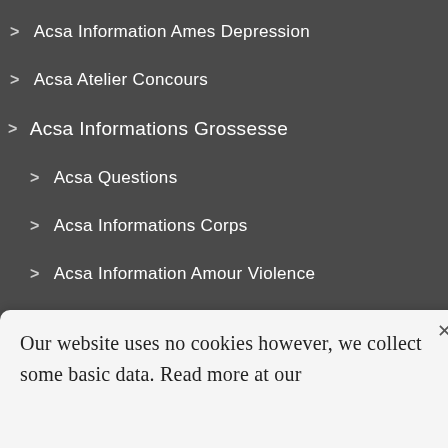> Acsa Information Ames Depression
> Acsa Atelier Concours
> Acsa Informations Grossesse
> Acsa Questions
> Acsa Informations Corps
> Acsa Information Amour Violence
> Privacy Policy
Our website uses no cookies however, we collect some basic data. Read more at our